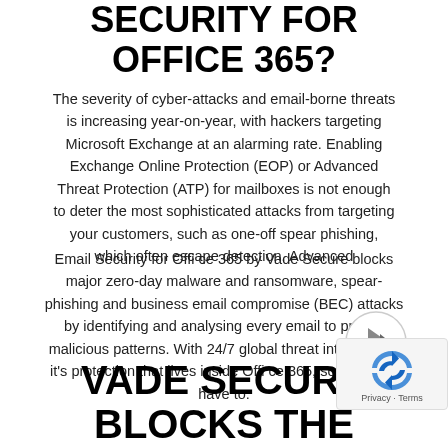SECURITY FOR OFFICE 365?
The severity of cyber-attacks and email-borne threats is increasing year-on-year, with hackers targeting Microsoft Exchange at an alarming rate. Enabling Exchange Online Protection (EOP) or Advanced Threat Protection (ATP) for mailboxes is not enough to deter the most sophisticated attacks from targeting your customers, such as one-off spear phishing, which often escape detection. Advanced
Email Security for Office 365 by Vade Secure blocks major zero-day malware and ransomware, spear-phishing and business email compromise (BEC) attacks by identifying and analysing every email to predict malicious patterns. With 24/7 global threat intelligence, it's protection that lives inside Office 365, so you don't have to.
VADE SECURE BLOCKS THE